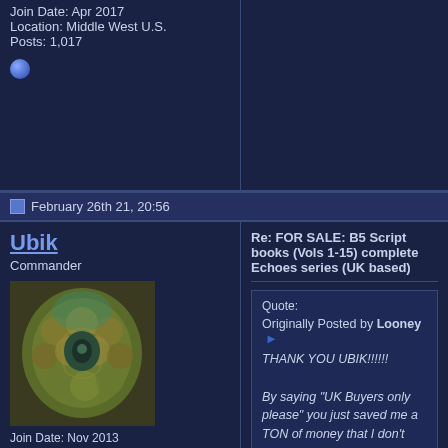Join Date: Apr 2017
Location: Middle West U.S.
Posts: 1,017
February 26th 21, 20:56
Ubik
Commander
[Figure (photo): Avatar image of a fantasy/sci-fi character with gold and teal tones]
Join Date: Nov 2013
Location: THE GRIM NORTH, UK
Posts: 195
Re: FOR SALE: B5 Script books (Vols 1-15) complete Echoes series (UK based)
Quote:
Originally Posted by Looney
THANK YOU UBIK!!!!!!

By saying "UK Buyers only please" you just saved me a TON of money that I don't have.
Looney, postage anywhere overseas was OBSCENE. I had one very interested buyer and we it was going to be about ship. So we left that well alone!